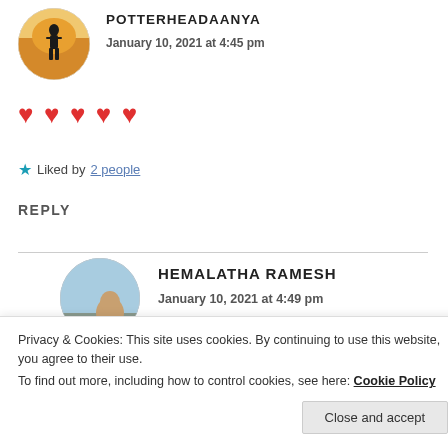[Figure (photo): Circular avatar of POTTERHEADAANYA showing a silhouette of a person at sunset near water]
POTTERHEADAANYA
January 10, 2021 at 4:45 pm
♥ ♥ ♥ ♥ ♥
★ Liked by 2 people
REPLY
[Figure (photo): Circular avatar of HEMALATHA RAMESH showing a person against a blue sky]
HEMALATHA RAMESH
January 10, 2021 at 4:49 pm
Privacy & Cookies: This site uses cookies. By continuing to use this website, you agree to their use.
To find out more, including how to control cookies, see here: Cookie Policy
Close and accept